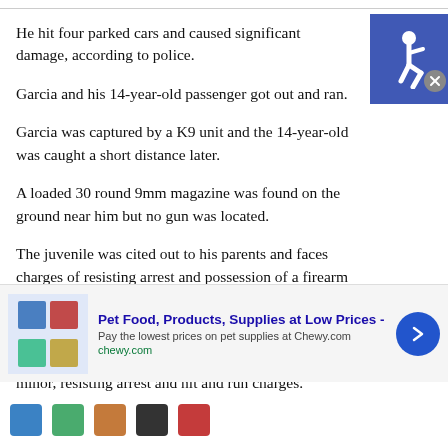He hit four parked cars and caused significant damage, according to police.
Garcia and his 14-year-old passenger got out and ran.
Garcia was captured by a K9 unit and the 14-year-old was caught a short distance later.
A loaded 30 round 9mm magazine was found on the ground near him but no gun was located.
The juvenile was cited out to his parents and faces charges of resisting arrest and possession of a firearm magazine.
Garcia was booked into Monterey County Jail on evading police, contributing to the delinquency of a minor, resisting arrest and hit and run charges.
[Figure (logo): Blue accessibility icon showing wheelchair symbol]
[Figure (other): Advertisement banner for Chewy.com pet food and supplies with close button and arrow button]